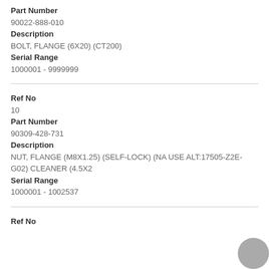Part Number
90022-888-010
Description
BOLT, FLANGE (6X20) (CT200)
Serial Range
1000001 - 9999999
Ref No
10
Part Number
90309-428-731
Description
NUT, FLANGE (M8X1.25) (SELF-LOCK) (NA USE ALT:17505-Z2E-G02) CLEANER (4.5X2
Serial Range
1000001 - 1002537
Ref No